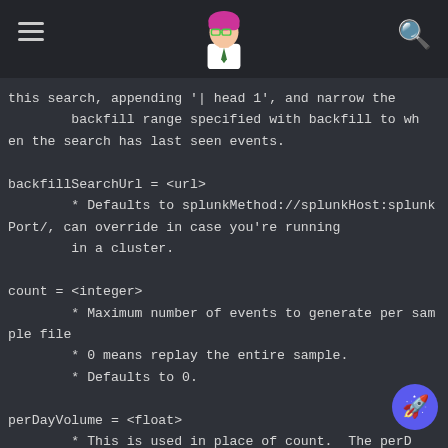[hamburger menu icon] [anime avatar] [search icon]
this search, appending '| head 1', and narrow the
        backfill range specified with backfill to wh
en the search has last seen events.

backfillSearchUrl = <url>
        * Defaults to splunkMethod://splunkHost:splunk
Port/, can override in case you're running
        in a cluster.

count = <integer>
        * Maximum number of events to generate per sam
ple file
        * 0 means replay the entire sample.
        * Defaults to 0.

perDayVolume = <float>
        * This is used in place of count.  The perD
olume is a size supplied in GB per Day.  This
e will allow
        * eventgen to supply a target datavolume inste